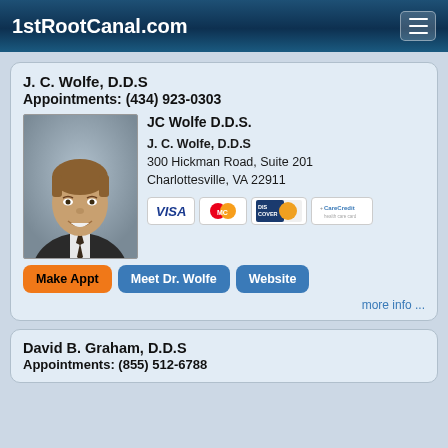1stRootCanal.com
J. C. Wolfe, D.D.S
Appointments: (434) 923-0303
JC Wolfe D.D.S.
J. C. Wolfe, D.D.S
300 Hickman Road, Suite 201
Charlottesville, VA 22911
[Figure (photo): Headshot photo of Dr. J.C. Wolfe, a man in a suit with a tie, smiling]
Make Appt   Meet Dr. Wolfe   Website
more info ...
David B. Graham, D.D.S
Appointments: (855) 512-6788